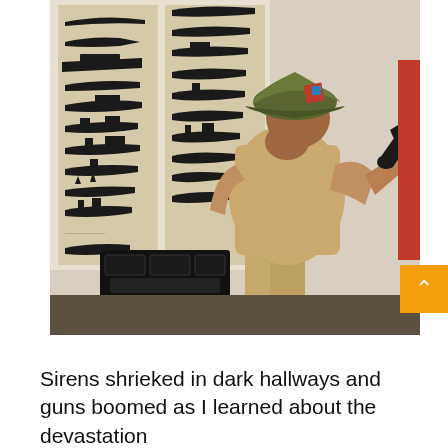[Figure (photo): A WWII-era military mannequin or costumed figure wearing a khaki uniform, olive drab helmet with a red-and-blue divisional patch, holding a black telephone handset to the ear. On the wall behind are posted identification silhouettes of naval warships in two columns. On a table in front sits a black field telephone/radio equipment. An orange scroll-to-top button appears in the lower right corner of the image.]
Sirens shrieked in dark hallways and guns boomed as I learned about the devastation